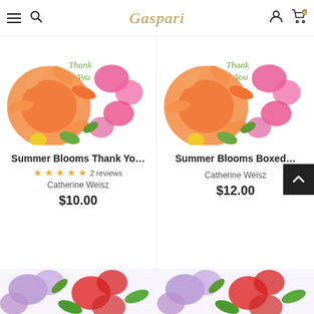Caspari
[Figure (photo): Summer Blooms Thank You card with orange dahlia and pink flowers on white background]
[Figure (photo): Summer Blooms Boxed card with orange dahlia and pink flowers on white background]
Summer Blooms Thank Yo…
★★★★★ 2 reviews
Catherine Weisz
$10.00
Summer Blooms Boxed…
Catherine Weisz
$12.00
[Figure (photo): Bottom left floral product card preview with purple and red flowers]
[Figure (photo): Bottom right floral product card preview with purple and red flowers]